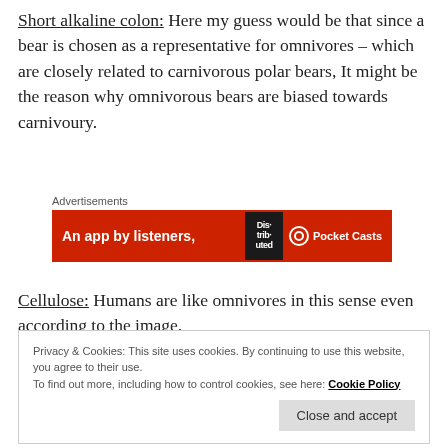Short alkaline colon: Here my guess would be that since a bear is chosen as a representative for omnivores – which are closely related to carnivorous polar bears, It might be the reason why omnivorous bears are biased towards carnivoury.
[Figure (other): Advertisement banner for Pocket Casts app: red background with text 'An app by listeners,' and a stylized 'Dis-trib-uted' badge graphic and Pocket Casts logo.]
Cellulose: Humans are like omnivores in this sense even according to the image.
Privacy & Cookies: This site uses cookies. By continuing to use this website, you agree to their use. To find out more, including how to control cookies, see here: Cookie Policy   Close and accept